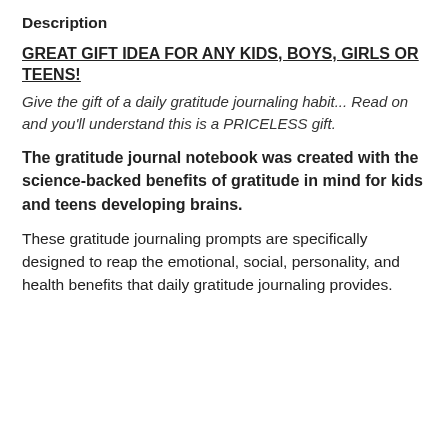Description
GREAT GIFT IDEA FOR ANY KIDS, BOYS, GIRLS OR TEENS!
Give the gift of a daily gratitude journaling habit... Read on and you'll understand this is a PRICELESS gift.
The gratitude journal notebook was created with the science-backed benefits of gratitude in mind for kids and teens developing brains.
These gratitude journaling prompts are specifically designed to reap the emotional, social, personality, and health benefits that daily gratitude journaling provides.